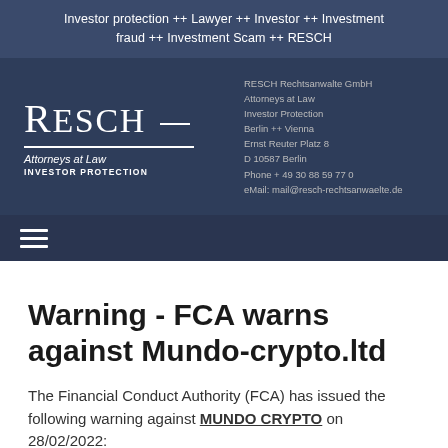Investor protection ++ Lawyer ++ Investor ++ Investment fraud ++ Investment Scam ++ RESCH
[Figure (logo): RESCH Attorneys at Law Investor Protection logo with company contact information: RESCH Rechtsanwalte GmbH, Attorneys at Law, Investor Protection, Berlin ++ Vienna, Ernst Reuter Platz 8, D 10587 Berlin, Phone + 49 30 88 59 77 0, eMail: mail@resch-rechtsanwaelte.de]
Warning - FCA warns against Mundo-crypto.ltd
The Financial Conduct Authority (FCA) has issued the following warning against MUNDO CRYPTO on 28/02/2022: